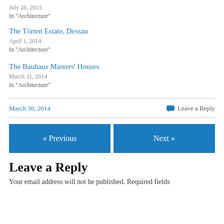July 28, 2013
In "Architecture"
The Törten Estate, Dessau
April 1, 2014
In "Architecture"
The Bauhaus Masters' Houses
March 31, 2014
In "Architecture"
March 30, 2014
Leave a Reply
« Previous
Next »
Leave a Reply
Your email address will not be published. Required fields